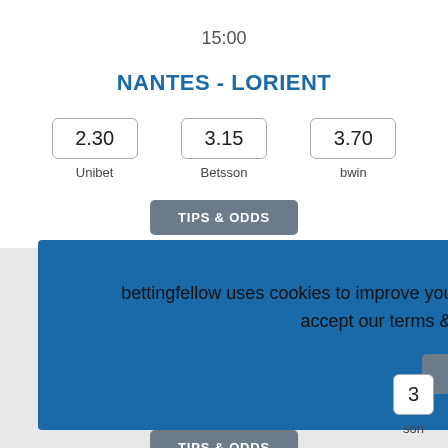15:00
NANTES - LORIENT
| Odds 1 | Odds X | Odds 2 |
| --- | --- | --- |
| 2.30 | 3.15 | 3.70 |
| Unibet | Betsson | bwin |
TIPS & ODDS
bettingfellow uses cookies to improve your experience. By continuing to use this site you accept our terms & conditions. Learn more Got it